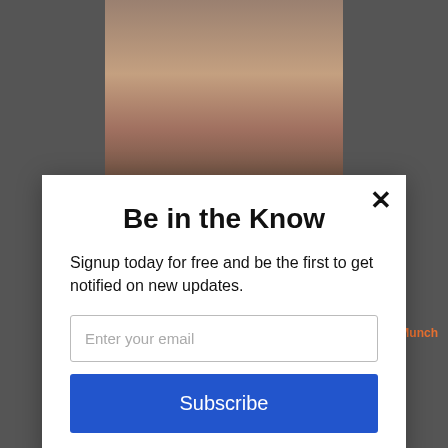[Figure (photo): Blurred background of a webpage showing a person's photo at the top and a dark footer area]
Be in the Know
Signup today for free and be the first to get notified on new updates.
Enter your email
Subscribe
FAQ    Policies    powered by MailMunch
© TinaLawverCreative